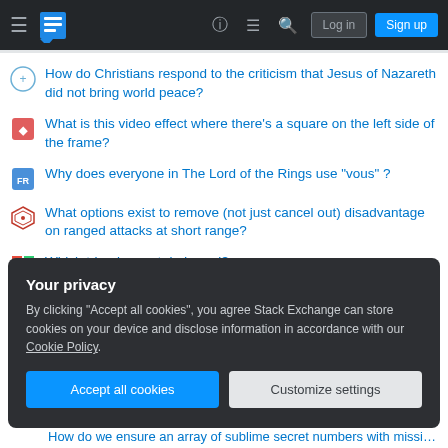Stack Exchange navigation bar with Log in and Sign up buttons
How do Christians respond to the criticism that Jesus of Nazareth did not bring world peace?
What is this video effect where there's a square on the left side of the frame?
Why does everyone in The Lord of the Rings use "vous" ?
What options exist to remove (not just cancel out) disadvantage on ranged attacks at short range?
Which tripod mount do I need?
An algorithm to find even sublime numbers
Sample two numbers from 1 to 10; maximize the expected product
Your privacy
By clicking "Accept all cookies", you agree Stack Exchange can store cookies on your device and disclose information in accordance with our Cookie Policy.
Accept all cookies | Customize settings
How do we ensure an array of sublime secret numbers with missing ones?